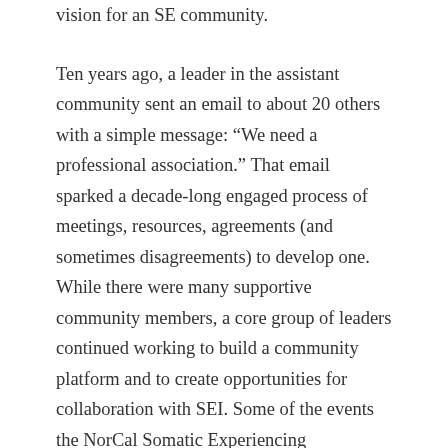vision for an SE community. Ten years ago, a leader in the assistant community sent an email to about 20 others with a simple message: “We need a professional association.” That email sparked a decade-long engaged process of meetings, resources, agreements (and sometimes disagreements) to develop one. While there were many supportive community members, a core group of leaders continued working to build a community platform and to create opportunities for collaboration with SEI. Some of the events the NorCal Somatic Experiencing Professional Association (NorCal SEPA) group held over the years were local SE fireside chats and